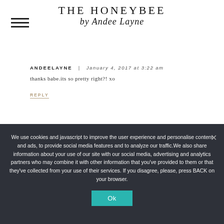THE HONEYBEE by Andee Layne
ANDEELAYNE | January 4, 2017 at 3:22 am
thanks babe.its so pretty right?! xo
REPLY
We use cookies and javascript to improve the user experience and personalise content and ads, to provide social media features and to analyze our traffic.We also share information about your use of our site with our social media, advertising and analytics partners who may combine it with other information that you've provided to them or that they've collected from your use of their services. If you disagree, please, press BACK on your browser.